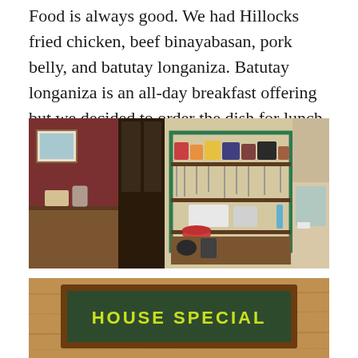Food is always good. We had Hillocks fried chicken, beef binayabasan, pork belly, and batutay longaniza. Batutay longaniza is an all-day breakfast offering but we decided to order the dish for lunch. We loved it and ordered 4 kilos that we will pick up on our way home.
[Figure (photo): Interior of a restaurant kitchen showing a green wooden shelf unit with colorful pots, pans, and utensils hanging, red booths on the left, wooden counter surfaces, and kitchen equipment]
[Figure (photo): A wooden-framed chalkboard sign with green chalk text reading HOUSE SPECIAL, set against a wooden table or surface]